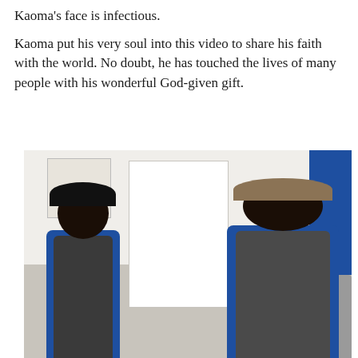Kaoma's face is infectious.
Kaoma put his very soul into this video to share his faith with the world. No doubt, he has touched the lives of many people with his wonderful God-given gift.
[Figure (photo): Two men sitting side by side in a room, both wearing blue shirts and dark vests. The man on the left wears a dark cap, the man on the right wears a tan/beige cap. They appear to be singing or speaking animatedly with hands gesturing. The room has a white door in the background, a framed picture on the wall to the left, and a blue curtain on the right.]